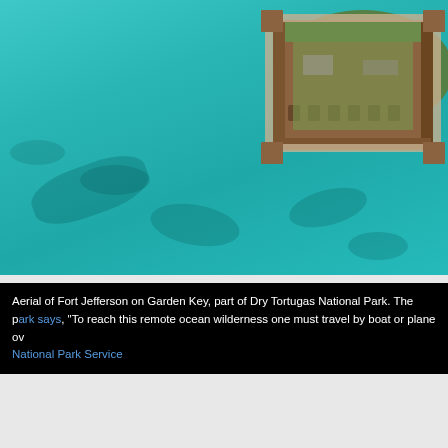[Figure (photo): Aerial photograph of Fort Jefferson on Garden Key, surrounded by turquoise water of Dry Tortugas National Park. The hexagonal/polygonal masonry fort structure is visible from above, set amid green vegetation on the island, with shallow reef-patterned water visible in the foreground and around the island.]
Aerial of Fort Jefferson on Garden Key, part of Dry Tortugas National Park. The park says, "To reach this remote ocean wilderness one must travel by boat or plane over 70 miles of open sea." National Park Service